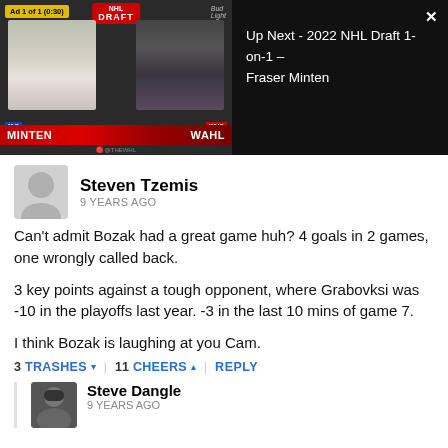[Figure (screenshot): Video player thumbnail showing NHL Draft interview with MINTEN and WAHL, with 'Ad 1 of 1 (0:30)' badge, Draft logo, and 'Up Next - 2022 NHL Draft 1-on-1 - Fraser Minten' panel on the right.]
Steven Tzemis
9 YEARS AGO
Can't admit Bozak had a great game huh? 4 goals in 2 games, one wrongly called back.

3 key points against a tough opponent, where Grabovksi was -10 in the playoffs last year. -3 in the last 10 mins of game 7.

I think Bozak is laughing at you Cam.
3 TRASHES  11 CHEERS  REPLY
Steve Dangle
9 YEARS AGO